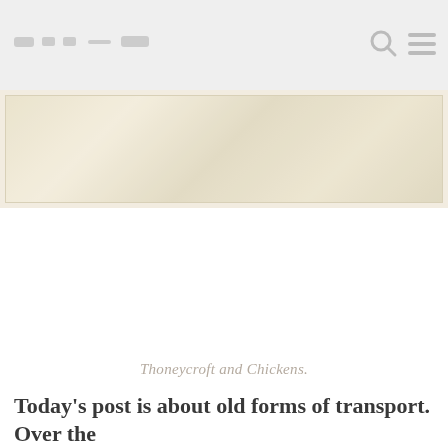Thoneycroft and Chickens
[Figure (photo): Faded hero banner image with light warm tones, appearing to show an outdoor or nature scene, very washed out and pale]
Thoneycroft and Chickens.
Today's post is about old forms of transport. Over the